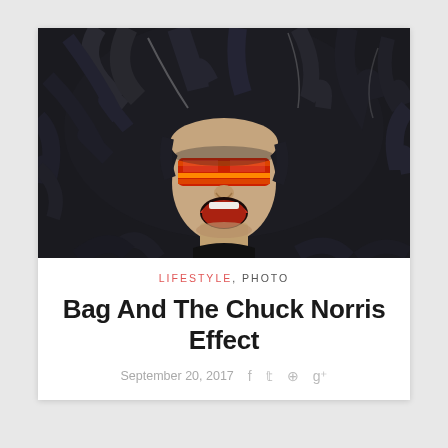[Figure (photo): Man with wild dark hair spread around his head, screaming, wearing red and yellow striped shades/visor glasses, photographed from above against a dark background]
LIFESTYLE, PHOTO
Bag And The Chuck Norris Effect
September 20, 2017